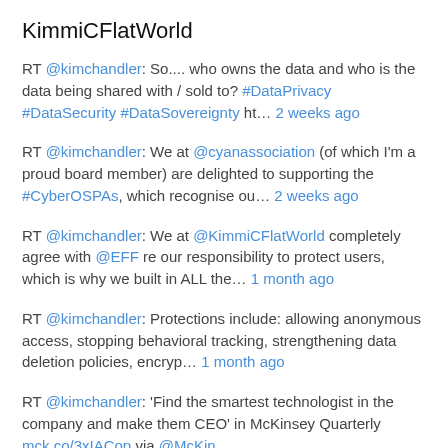KimmiCFlatWorld
RT @kimchandler: So.... who owns the data and who is the data being shared with / sold to? #DataPrivacy #DataSecurity #DataSovereignty ht… 2 weeks ago
RT @kimchandler: We at @cyanassociation (of which I'm a proud board member) are delighted to supporting the #CyberOSPAs, which recognise ou… 2 weeks ago
RT @kimchandler: We at @KimmiCFlatWorld completely agree with @EFF re our responsibility to protect users, which is why we built in ALL the… 1 month ago
RT @kimchandler: Protections include: allowing anonymous access, stopping behavioral tracking, strengthening data deletion policies, encryp… 1 month ago
RT @kimchandler: 'Find the smartest technologist in the company and make them CEO' in McKinsey Quarterly mck.co/3xIACop via @McKin… 2 months ago